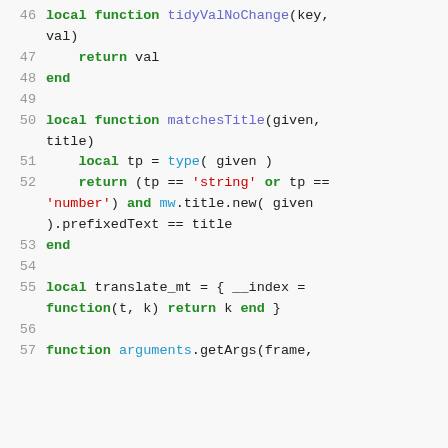46  local function tidyValNoChange(key, val)
47      return val
48  end
49
50  local function matchesTitle(given, title)
51      local tp = type( given )
52      return (tp == 'string' or tp == 'number') and mw.title.new( given ).prefixedText == title
53  end
54
55  local translate_mt = { __index = function(t, k) return k end }
56
57  function arguments.getArgs(frame,